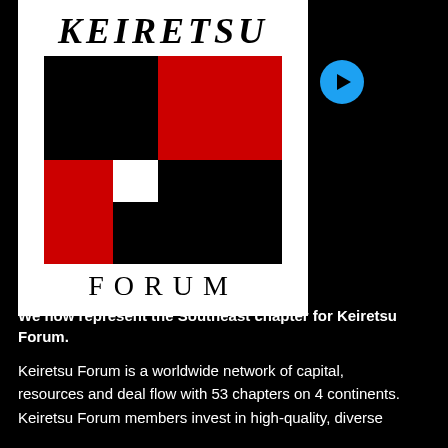[Figure (logo): Keiretsu Forum logo with black and red grid pattern and serif text 'KEIRETSU FORUM']
We now represent the Southeast chapter for Keiretsu Forum.
Keiretsu Forum is a worldwide network of capital, resources and deal flow with 53 chapters on 4 continents. Keiretsu Forum members invest in high-quality, diverse